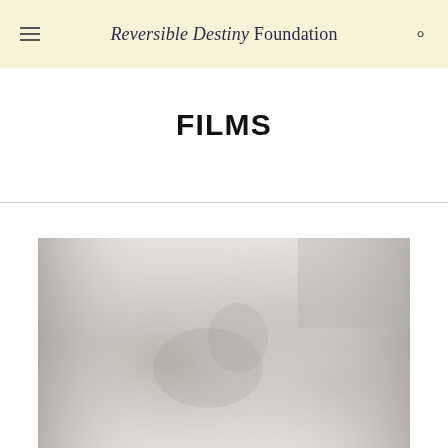Reversible Destiny Foundation
FILMS
[Figure (photo): A washed-out black and white photograph showing a person reclining in a chair, with abstract sculptural or architectural elements on either side. The image has a very light, faded quality.]